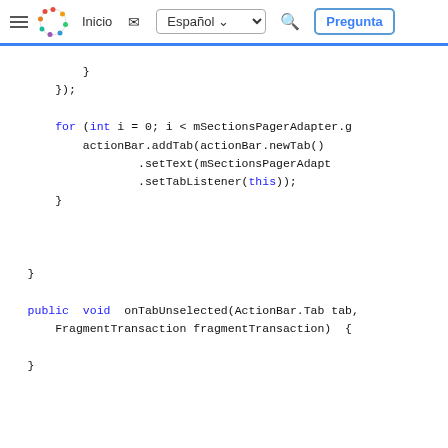Inicio | Español | Pregunta
[Figure (screenshot): Navigation bar with hamburger menu, colorful circular logo, Inicio link, mail icon, Español language dropdown, search icon, and Pregunta button]
Code block showing Java code with closing braces, for loop with mSectionsPagerAdapter, actionBar.addTab, setText, setTabListener(this), closing brace, public void onTabUnselected(ActionBar.Tab tab, FragmentTransaction fragmentTransaction) { }